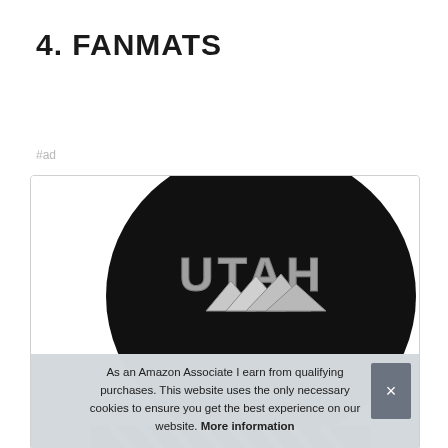4. FANMATS
#ad
[Figure (photo): A round black fanmat with 'UTAH' text and mountain graphic in silver/chrome style, partially visible at the bottom of a framed image box.]
As an Amazon Associate I earn from qualifying purchases. This website uses the only necessary cookies to ensure you get the best experience on our website. More information